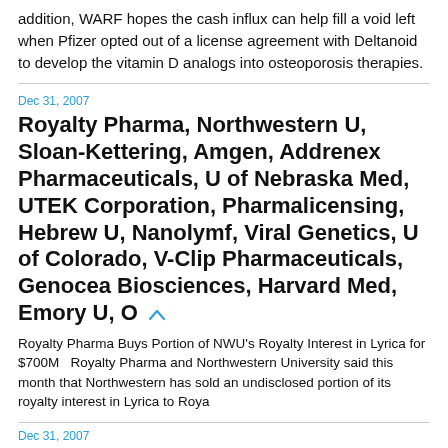addition, WARF hopes the cash influx can help fill a void left when Pfizer opted out of a license agreement with Deltanoid to develop the vitamin D analogs into osteoporosis therapies.
Dec 31, 2007
Royalty Pharma, Northwestern U, Sloan-Kettering, Amgen, Addrenex Pharmaceuticals, U of Nebraska Med, UTEK Corporation, Pharmalicensing, Hebrew U, Nanolymf, Viral Genetics, U of Colorado, V-Clip Pharmaceuticals, Genocea Biosciences, Harvard Med, Emory U, O
Royalty Pharma Buys Portion of NWU's Royalty Interest in Lyrica for $700M   Royalty Pharma and Northwestern University said this month that Northwestern has sold an undisclosed portion of its royalty interest in Lyrica to Roya
Dec 31, 2007